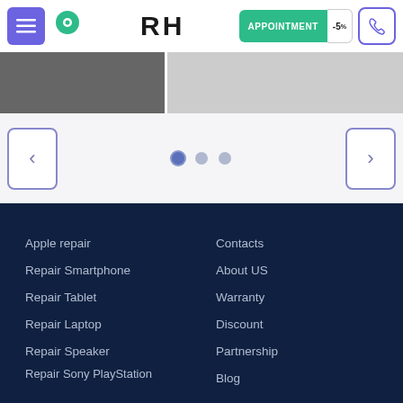[Figure (screenshot): Website header navigation bar with menu icon, location icon, RH logo, appointment button with -5% discount, and phone call button]
[Figure (photo): Partial banner images showing interior/flooring photos]
[Figure (screenshot): Image slider navigation with left arrow, three pagination dots, and right arrow]
Apple repair
Repair Smartphone
Repair Tablet
Repair Laptop
Repair Speaker
Repair Sony PlayStation
Contacts
About US
Warranty
Discount
Partnership
Blog
Call a courier
BOOK APPOINTMENT  5%